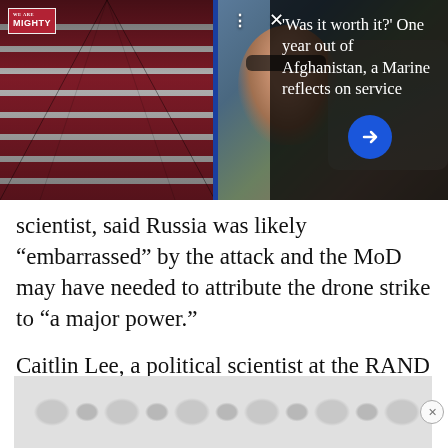[Figure (screenshot): Top banner showing two photos: left photo of flag-draped coffins in an aircraft, right photo of a soldier in sunglasses taking a selfie with a group. Overlaid text panel on right reads 'Was it worth it? One year out of Afghanistan, a Marine reflects on service'. Logo 'WE ARE MIGHTY' in top-left corner. Blue arrow button and dot/close controls visible.]
scientist, said Russia was likely “embarrassed” by the attack and the MoD may have needed to attribute the drone strike to “a major power.”
Caitlin Lee, a political scientist at the RAND Corp., told Business Insider that GPS or a camera would be needed to execute a drone attack and di...
[Figure (screenshot): Advertisement banner with a repeating circular/donut pattern in gray tones at the bottom of the page. Close button (x) on the right side.]